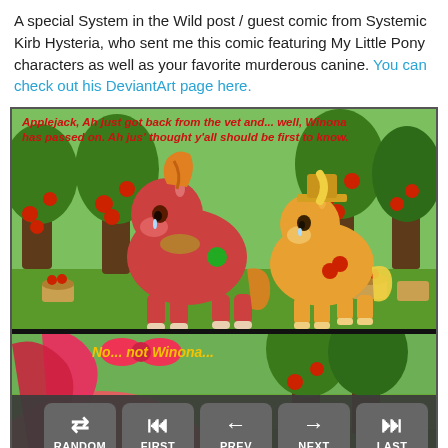A special System in the Wild post / guest comic from Systemic Kirb Hysteria, who sent me this comic featuring My Little Pony characters as well as your favorite murderous canine. You can check out his DeviantArt page here.
[Figure (illustration): Two-panel My Little Pony fan comic. Panel 1: Big McIntosh (red pony) crying, facing Applejack (orange pony) in an apple orchard. Red italic text reads: 'Applejack, Ah just got back from the vet and... well, Winona has passed on. Ah jus' thought y'all should be first to know.' Panel 2: Close-up of Apple Bloom in the foreground, yellow text reads: 'No... not Winona...' with the same orchard background visible behind. Navigation bar at the bottom with RANDOM, FIRST, PREV, NEXT, LAST buttons.]